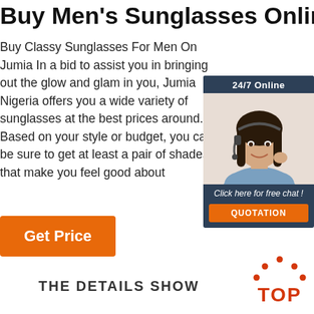Buy Men's Sunglasses Online
Buy Classy Sunglasses For Men On Jumia In a bid to assist you in bringing out the glow and glam in you, Jumia Nigeria offers you a wide variety of sunglasses at the best prices around. Based on your style or budget, you can be sure to get at least a pair of shades that make you feel good about yourself.
[Figure (other): 24/7 Online chat widget with a woman wearing a headset. Shows '24/7 Online', a photo of a woman with headset, text 'Click here for free chat!' and an orange QUOTATION button.]
Get Price
THE DETAILS SHOW
[Figure (logo): TOP logo with orange dots arranged in an arc above the word TOP in orange letters]